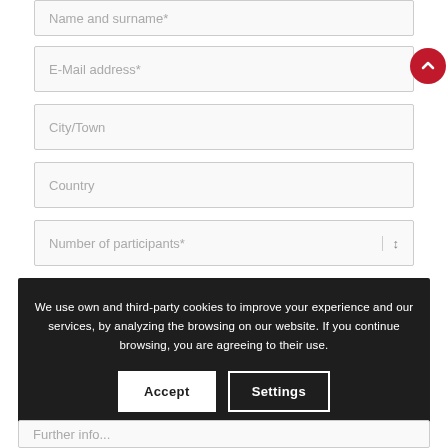Name and surname*
E-Mail address*
City/Town
Country
Number of participants*
We use own and third-party cookies to improve your experience and our services, by analyzing the browsing on our website. If you continue browsing, you are agreeing to their use.
Accept
Settings
Further info...